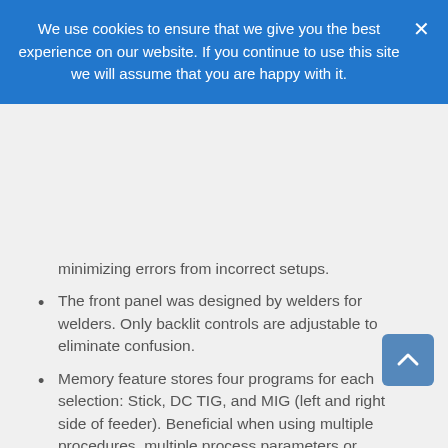We use cookies to ensure that we give you the best experience on our website. If you continue to use this site we will assume that you are happy with it.
minimizing errors from incorrect setups.
The front panel was designed by welders for welders. Only backlit controls are adjustable to eliminate confusion.
Memory feature stores four programs for each selection: Stick, DC TIG, and MIG (left and right side of feeder). Beneficial when using multiple procedures, multiple process parameters or multiple welders and eliminates the need to remember parameters.
Quick Process Changeover
No need to manually switch polarity or cables and hoses between processes. Simply push a process